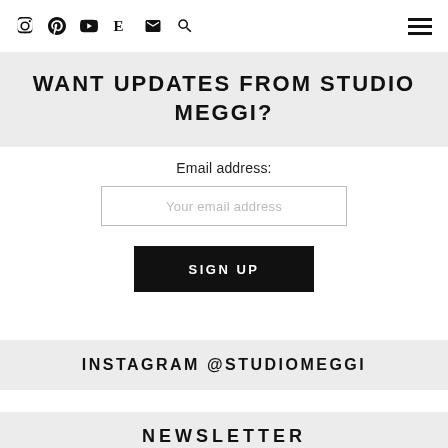Navigation icons: Instagram, Pinterest, YouTube, E (Etsy), Email, Search, Hamburger menu
WANT UPDATES FROM STUDIO MEGGI?
Email address:
Your email address
SIGN UP
INSTAGRAM @STUDIOMEGGI
NEWSLETTER